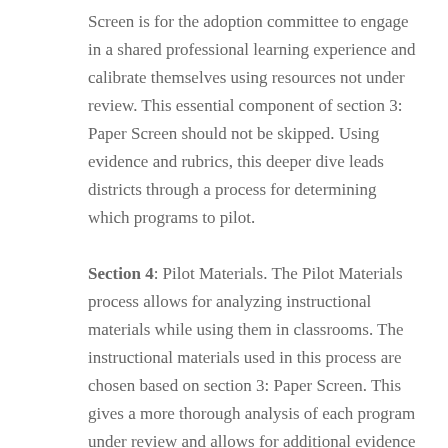Screen is for the adoption committee to engage in a shared professional learning experience and calibrate themselves using resources not under review. This essential component of section 3: Paper Screen should not be skipped. Using evidence and rubrics, this deeper dive leads districts through a process for determining which programs to pilot.
Section 4: Pilot Materials. The Pilot Materials process allows for analyzing instructional materials while using them in classrooms. The instructional materials used in this process are chosen based on section 3: Paper Screen. This gives a more thorough analysis of each program under review and allows for additional evidence to be used in